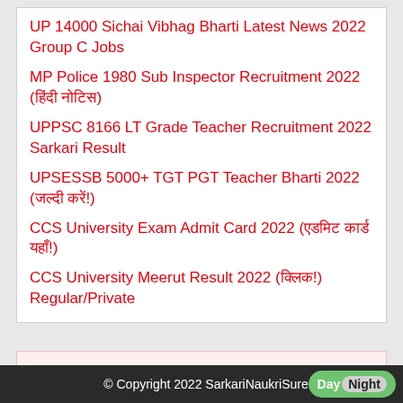UP 14000 Sichai Vibhag Bharti Latest News 2022 Group C Jobs
MP Police 1980 Sub Inspector Recruitment 2022 (हिंदी नोटिस)
UPPSC 8166 LT Grade Teacher Recruitment 2022 Sarkari Result
UPSESSB 5000+ TGT PGT Teacher Bharti 2022 (जल्दी करें!)
CCS University Exam Admit Card 2022 (एडमिट कार्ड यहाँ!)
CCS University Meerut Result 2022 (क्लिक!) Regular/Private
© Copyright 2022 SarkariNaukriSure